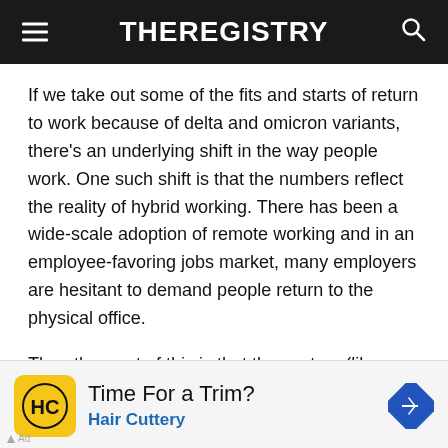THEREGISTRY
If we take out some of the fits and starts of return to work because of delta and omicron variants, there’s an underlying shift in the way people work. One such shift is that the numbers reflect the reality of hybrid working. There has been a wide-scale adoption of remote working and in an employee-favoring jobs market, many employers are hesitant to demand people return to the physical office.
The other part of this is that the sectors (like restaurants, entertainment venues, and travel) that are outperforming the market are places that people actively want to get
[Figure (other): Advertisement banner for Hair Cuttery with yellow logo icon, ad headline 'Time For a Trim?', subtext 'Hair Cuttery' in blue, and a blue diamond-shaped navigation arrow icon on the right.]